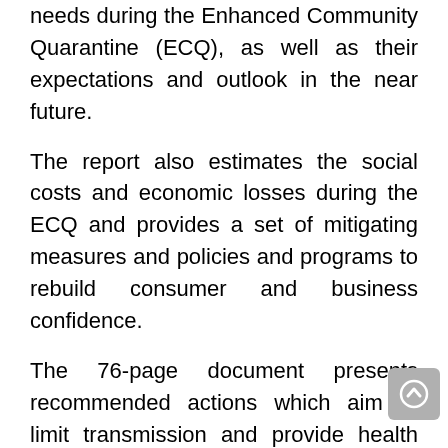needs during the Enhanced Community Quarantine (ECQ), as well as their expectations and outlook in the near future.
The report also estimates the social costs and economic losses during the ECQ and provides a set of mitigating measures and policies and programs to rebuild consumer and business confidence.
The 76-page document presents recommended actions which aim to limit transmission and provide health care to those who need them; mitigate some of the adverse social and economic impacts of the pandemic; as well as define and adapt to the new normal.
NEDA chairs the IATF-TWG for AFP consisting of